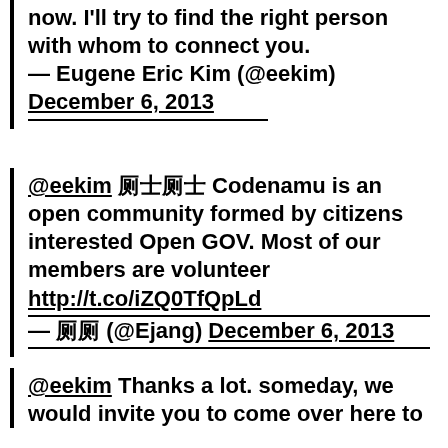now. I'll try to find the right person with whom to connect you.
— Eugene Eric Kim (@eekim) December 6, 2013
@eekim 코드나무 Codenamu is an open community formed by citizens interested Open GOV. Most of our members are volunteer http://t.co/iZQ0TfQpLd
— 장유수 (@Ejang) December 6, 2013
@eekim Thanks a lot. someday, we would invite you to come over here to